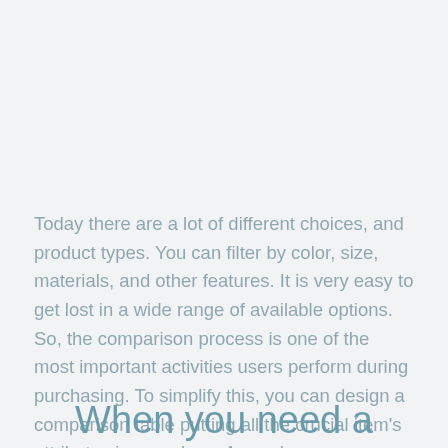Today there are a lot of different choices, and product types. You can filter by color, size, materials, and other features. It is very easy to get lost in a wide range of available options. So, the comparison process is one of the most important activities users perform during purchasing. To simplify this, you can design a comparison table putting all the crucial item's attributes in one place. As such, users can quickly get an overview of your offerings at a glance.
When you need a